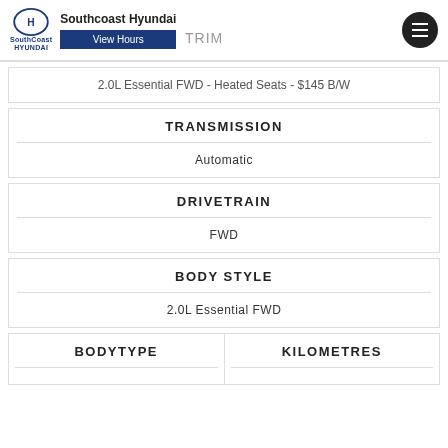Southcoast Hyundai | View Hours | TRIM
2.0L Essential FWD - Heated Seats - $145 B/W
TRANSMISSION
Automatic
DRIVETRAIN
FWD
BODY STYLE
2.0L Essential FWD
BODYTYPE
KILOMETRES